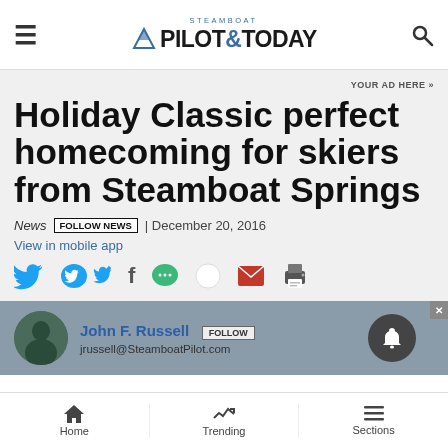Steamboat Pilot & Today
YOUR AD HERE »
Holiday Classic perfect homecoming for skiers from Steamboat Springs
News | FOLLOW NEWS | December 20, 2016
View in mobile app
[Figure (other): Social share icons: Twitter, Facebook, Comment, Email, Print]
John F. Russell FOLLOW jrussell@SteamboatPilot.com
Home | Trending | Sections